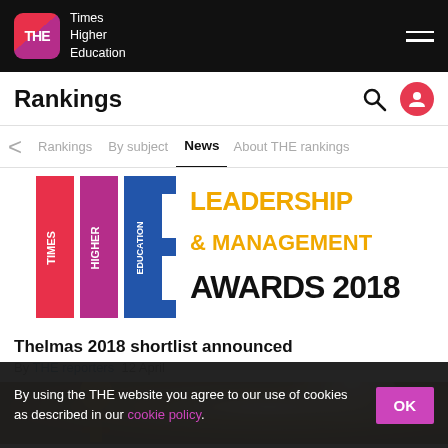Times Higher Education
Rankings
Rankings  By subject  News  About THE rankings
[Figure (logo): Times Higher Education Leadership & Management Awards 2018 banner image with THE logo and gold text on white background]
Thelmas 2018 shortlist announced
By THE reporters  12 April
[Figure (photo): Close-up photo of a gold award trophy statuette with blurred bokeh lighting in background]
By using the THE website you agree to our use of cookies as described in our cookie policy.